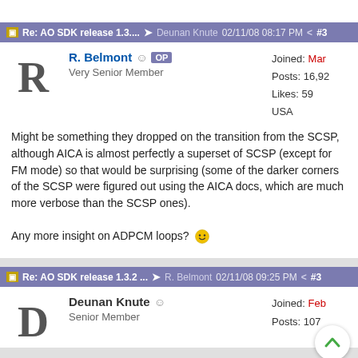Re: AO SDK release 1.3.... → Deunan Knute 02/11/08 08:17 PM < #3
R. Belmont OP
Very Senior Member
Joined: Mar
Posts: 16,92
Likes: 59
USA
Might be something they dropped on the transition from the SCSP, although AICA is almost perfectly a superset of SCSP (except for FM mode) so that would be surprising (some of the darker corners of the SCSP were figured out using the AICA docs, which are much more verbose than the SCSP ones).

Any more insight on ADPCM loops?
Re: AO SDK release 1.3.2 ... → R. Belmont 02/11/08 09:25 PM < #3
Deunan Knute
Senior Member
Joined: Feb
Posts: 107